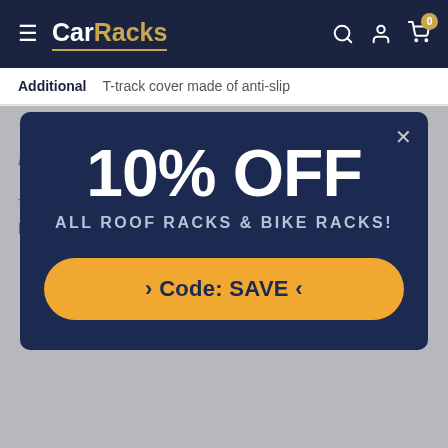CarRacks
Additional	T-track cover made of anti-slip
[Figure (screenshot): Promotional modal popup on CarRacks website offering 10% OFF all roof racks and bike racks with code SAVE]
Bars Design
These Nordrive roof bars are a beautiful set of preassembled bars to fit the raised roof rails on this